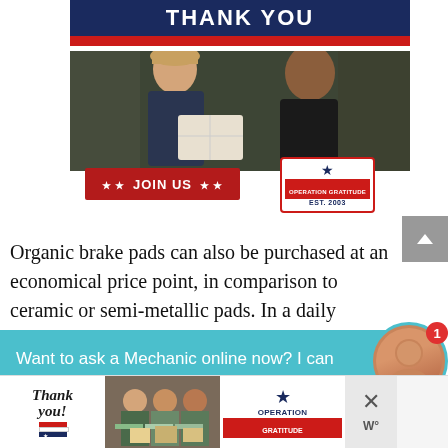[Figure (photo): Operation Gratitude promotional image showing a military serviceman in navy uniform receiving a care package box from a woman in black, with 'THANK YOU' text at top, red stripe, JOIN US banner in red, and Operation Gratitude logo]
Organic brake pads can also be purchased at an economical price point, in comparison to ceramic or semi-metallic pads. In a daily driving
Want to ask a Mechanic online now? I can connect you ...
[Figure (photo): Bottom advertisement banner for Operation Gratitude showing 'Thank you!' handwritten text with flag, group of people holding packages, and Operation Gratitude logo with close button]